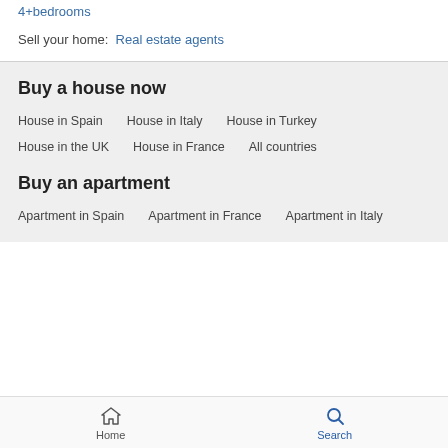4+bedrooms
Sell your home:  Real estate agents
Buy a house now
House in Spain
House in Italy
House in Turkey
House in the UK
House in France
All countries
Buy an apartment
Apartment in Spain
Apartment in France
Apartment in Italy
Home  Search